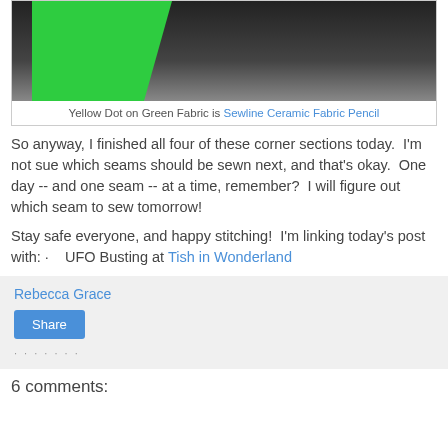[Figure (photo): Photo of green felt/fabric with a yellow dot marker on it, and a dark background with sewing/crafting context]
Yellow Dot on Green Fabric is Sewline Ceramic Fabric Pencil
So anyway, I finished all four of these corner sections today.  I'm not sue which seams should be sewn next, and that's okay.  One day -- and one seam -- at a time, remember?  I will figure out which seam to sew tomorrow!
Stay safe everyone, and happy stitching!  I'm linking today's post with: ·    UFO Busting at Tish in Wonderland
Rebecca Grace
Share
6 comments: